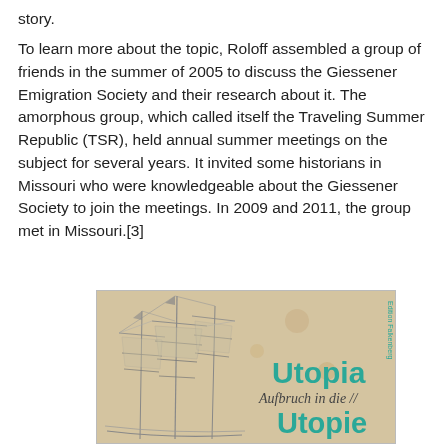story.
To learn more about the topic, Roloff assembled a group of friends in the summer of 2005 to discuss the Giessener Emigration Society and their research about it. The amorphous group, which called itself the Traveling Summer Republic (TSR), held annual summer meetings on the subject for several years. It invited some historians in Missouri who were knowledgeable about the Giessener Society to join the meetings. In 2009 and 2011, the group met in Missouri.[3]
[Figure (illustration): Book cover of 'Utopia — Aufbruch in die // Utopie' published by Edition Falkenberg, showing a pencil sketch of sailing ships on an aged paper background with teal/turquoise typography.]